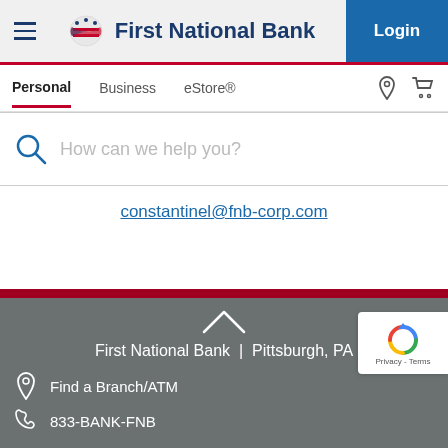First National Bank — Login
Personal | Business | eStore®
How can we help you?
constantinel@fnb-corp.com
First National Bank | Pittsburgh, PA
Find a Branch/ATM
833-BANK-FNB